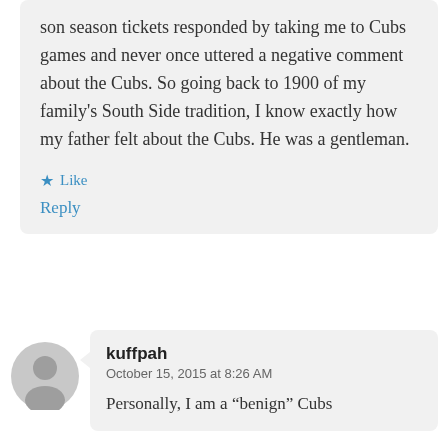son season tickets responded by taking me to Cubs games and never once uttered a negative comment about the Cubs. So going back to 1900 of my family's South Side tradition, I know exactly how my father felt about the Cubs. He was a gentleman.
★ Like
Reply
[Figure (illustration): Generic user avatar icon — gray silhouette of a person's head and shoulders on a light gray circle background]
kuffpah
October 15, 2015 at 8:26 AM
Personally, I am a “benign” Cubs